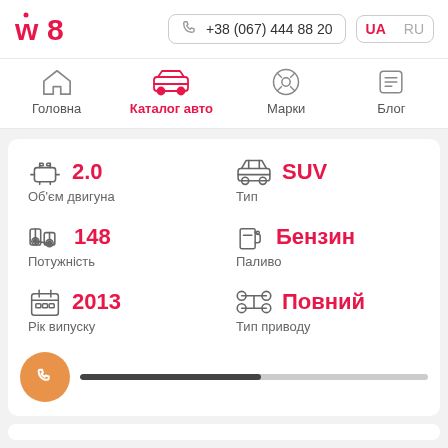w8 logo | +38 (067) 444 88 20 | UA RU
Головна | Каталог авто | Марки | Блог
2.0 Об'єм двигуна | SUV Тип | 148 Потужність | Бензин Паливо | 2013 Рік випуску | Повний Тип приводу